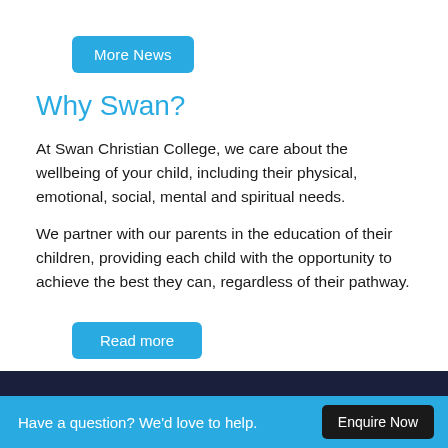[Figure (other): Blue rounded button labeled 'More News']
Why Swan?
At Swan Christian College, we care about the wellbeing of your child, including their physical, emotional, social, mental and spiritual needs.
We partner with our parents in the education of their children, providing each child with the opportunity to achieve the best they can, regardless of their pathway.
[Figure (other): Blue rounded button labeled 'Read more']
from your connection. To continue, please confirm that youâ€™re a human (and not a spambot).
Have a question? We'd love to help.   Enquire Now